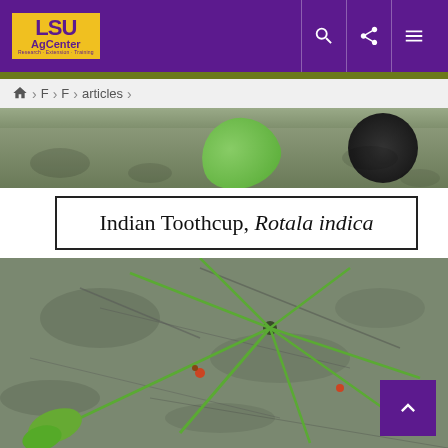LSU AgCenter
Home > F > F > articles >
[Figure (photo): Close-up photo of soil with green leaf and dark circular object, top portion of plant identification article image]
Indian Toothcup, Rotala indica
[Figure (photo): Close-up photograph of Indian Toothcup (Rotala indica) plant stems growing from gray muddy soil, with thin green stems radiating outward and small leaves visible]